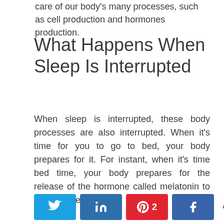care of our body's many processes, such as cell production and hormones production.
What Happens When Sleep Is Interrupted
When sleep is interrupted, these body processes are also interrupted. When it's time for you to go to bed, your body prepares for it. For instant, when it's time bed time, your body prepares for the release of the hormone called melatonin to help you get there.
[Figure (infographic): Social share buttons: Twitter (blue bird icon), LinkedIn (blue 'in' icon), Pinterest (red pin icon with count '2'), Facebook (blue 'f' icon), and a share icon with count '2 SHARES']